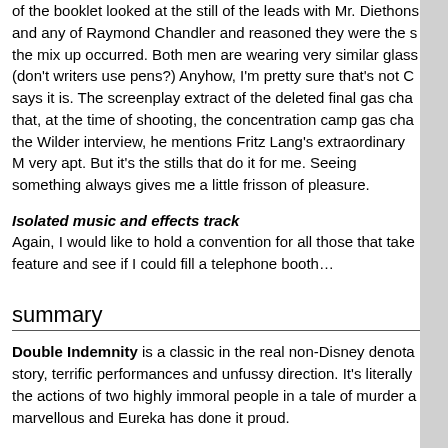of the booklet looked at the still of the leads with Mr. Diethons and any of Raymond Chandler and reasoned they were the s the mix up occurred. Both men are wearing very similar glass (don't writers use pens?) Anyhow, I'm pretty sure that's not C says it is. The screenplay extract of the deleted final gas cha that, at the time of shooting, the concentration camp gas cha the Wilder interview, he mentions Fritz Lang's extraordinary M very apt. But it's the stills that do it for me. Seeing something always gives me a little frisson of pleasure.
Isolated music and effects track
Again, I would like to hold a convention for all those that take feature and see if I could fill a telephone booth…
summary
Double Indemnity is a classic in the real non-Disney denota story, terrific performances and unfussy direction. It's literally the actions of two highly immoral people in a tale of murder a marvellous and Eureka has done it proud.